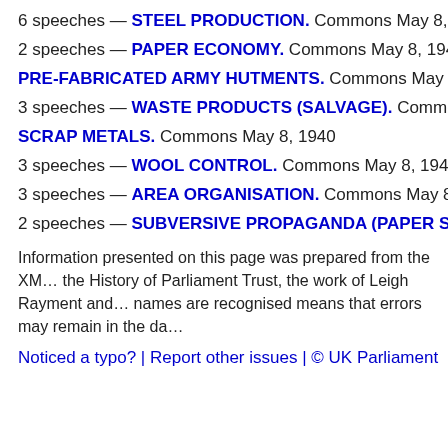6 speeches — STEEL PRODUCTION. Commons May 8, 1940
2 speeches — PAPER ECONOMY. Commons May 8, 1940
PRE-FABRICATED ARMY HUTMENTS. Commons May 8, 1940
3 speeches — WASTE PRODUCTS (SALVAGE). Commons May 8, 1940
SCRAP METALS. Commons May 8, 1940
3 speeches — WOOL CONTROL. Commons May 8, 1940
3 speeches — AREA ORGANISATION. Commons May 8, 1940
2 speeches — SUBVERSIVE PROPAGANDA (PAPER SUPP...
Information presented on this page was prepared from the XML files, the History of Parliament Trust, the work of Leigh Rayment and names are recognised means that errors may remain in the da...
Noticed a typo? | Report other issues | © UK Parliament